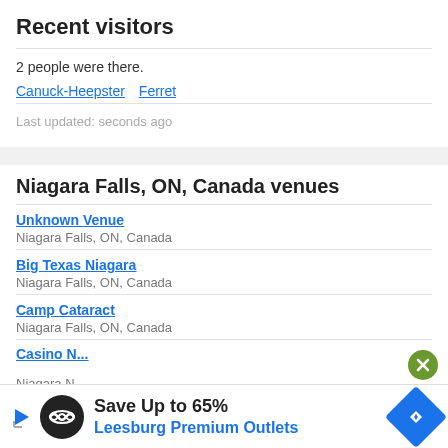Recent visitors
2 people were there.
Canuck-Heepster  Ferret
Last updated: seconds ago
Niagara Falls, ON, Canada venues
Unknown Venue
Niagara Falls, ON, Canada
Big Texas Niagara
Niagara Falls, ON, Canada
Camp Cataract
Niagara Falls, ON, Canada
Casino N...
Niagara N...
[Figure (infographic): Advertisement banner: Save Up to 65% Leesburg Premium Outlets with logo and navigation icon]